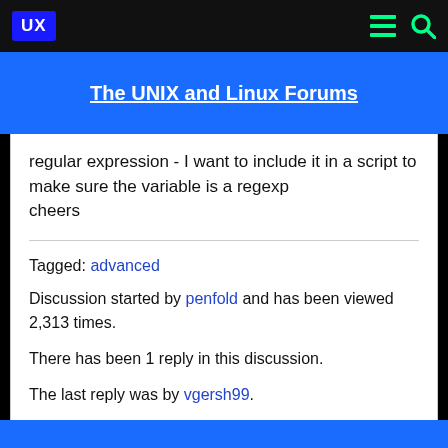UX
The UNIX and Linux Forums
regular expression - I want to include it in a script to make sure the variable is a regexp
cheers
Tagged: advanced
Discussion started by penfold and has been viewed 2,313 times.
There has been 1 reply in this discussion.
The last reply was by vgersh99.